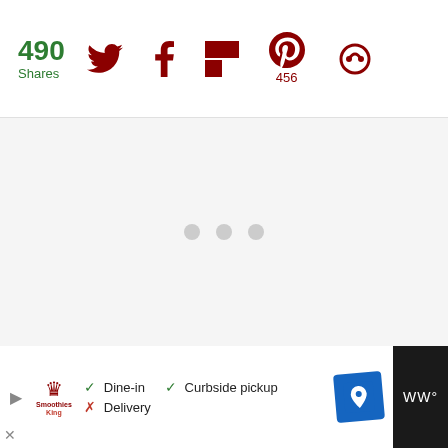490 Shares — social share bar with Twitter, Facebook, Flipboard, Pinterest (456), and another icon
[Figure (other): Loading placeholder with three grey dots in a grey background area]
[Figure (other): Floating teal heart button and floating white share button on right side]
[Figure (other): What's Next panel: Apple Streusel Crumb Cake... with food thumbnail]
[Figure (other): Advertisement bar at bottom: Smoothie King ad with Dine-in checkmark, Curbside pickup checkmark, Delivery X, map icon, and WW logo on right]